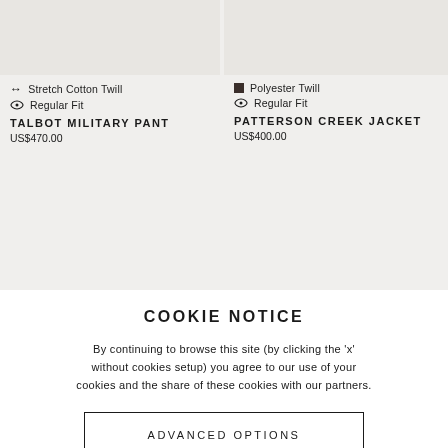[Figure (screenshot): Product thumbnail image for Talbot Military Pant (left side, partially visible)]
[Figure (screenshot): Product thumbnail image for Patterson Creek Jacket (right side, partially visible) with NEW ARRIVAL label]
Stretch Cotton Twill
Regular Fit
TALBOT MILITARY PANT
US$470.00
Polyester Twill
Regular Fit
PATTERSON CREEK JACKET
US$400.00
COOKIE NOTICE
By continuing to browse this site (by clicking the 'x' without cookies setup) you agree to our use of your cookies and the share of these cookies with our partners.
ADVANCED OPTIONS
ACCEPT COOKIES